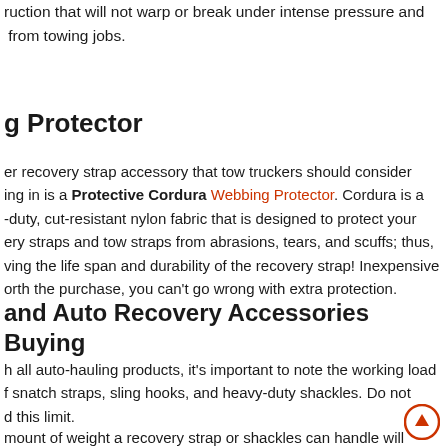ruction that will not warp or break under intense pressure and from towing jobs.
g Protector
er recovery strap accessory that tow truckers should consider ing in is a Protective Cordura Webbing Protector. Cordura is a -duty, cut-resistant nylon fabric that is designed to protect your ery straps and tow straps from abrasions, tears, and scuffs; thus, ving the life span and durability of the recovery strap! Inexpensive orth the purchase, you can't go wrong with extra protection.
and Auto Recovery Accessories Buying
h all auto-hauling products, it's important to note the working load f snatch straps, sling hooks, and heavy-duty shackles. Do not d this limit.
mount of weight a recovery strap or shackles can handle will d on the size of the accessory. If you're going to haul or tow a which we have the recommendations to get you started.